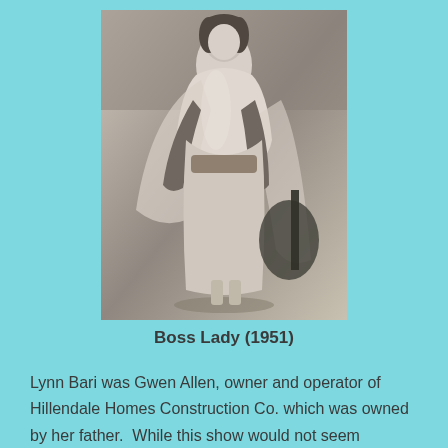[Figure (photo): Black and white photograph of a woman in an elegant gown with long gloves, posed in a glamorous full-length portrait style typical of 1950s Hollywood promotional photography.]
Boss Lady (1951)
Lynn Bari was Gwen Allen, owner and operator of Hillendale Homes Construction Co. which was owned by her father. While this show would not seem unusual at all today, back in 1951 it was not common to see a